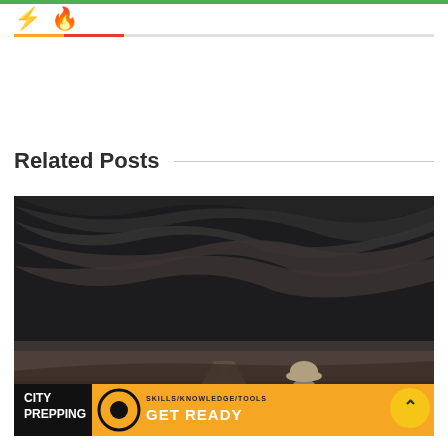⚡ 🔥
Related Posts
[Figure (photo): Person with backpack standing on road under dramatic stormy dark clouds, viewed from behind wearing a hat. City Prepping branded overlay at bottom with orange banner reading SKILLS/KNOWLEDGE/TOOLS GET READY.]